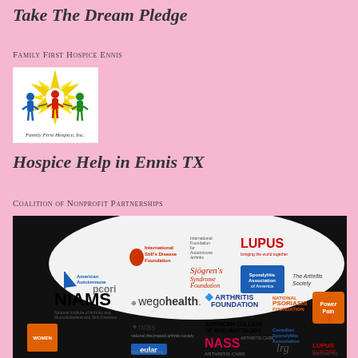Take The Dream Pledge
Family First Hospice Ennis
[Figure (logo): Family First Hospice Inc. logo showing colorful figures holding hands under a sunburst with the text 'Family First Hospice, Inc.']
Hospice Help in Ennis TX
Coalition of Nonprofit Partnerships
[Figure (infographic): Coalition image showing logos of numerous nonprofit health organizations including NIAMS, wego health, Arthritis Foundation, National Psoriasis Foundation, American College of Rheumatology, NASS, Canadian Spondylitis Association, Lupus, Spondylitis Association of America, Sjogren's Syndrome Foundation, pcori, nras, eular, International Still's Disease Foundation, and many others arranged in a circular infographic on a black background.]